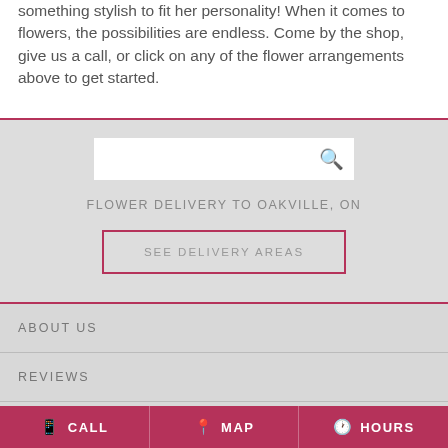something stylish to fit her personality! When it comes to flowers, the possibilities are endless. Come by the shop, give us a call, or click on any of the flower arrangements above to get started.
FLOWER DELIVERY TO OAKVILLE, ON
SEE DELIVERY AREAS
ABOUT US
REVIEWS
SPECIAL OFFERS
CALL   MAP   HOURS